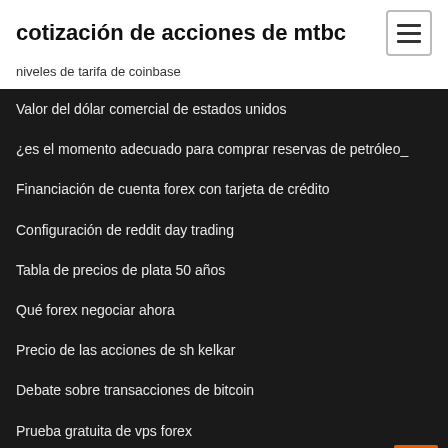cotización de acciones de mtbc
niveles de tarifa de coinbase
Valor del dólar comercial de estados unidos
¿es el momento adecuado para comprar reservas de petróleo_
Financiación de cuenta forex con tarjeta de crédito
Configuración de reddit day trading
Tabla de precios de plata 50 años
Qué forex negociar ahora
Precio de las acciones de sh kelkar
Debate sobre transacciones de bitcoin
Prueba gratuita de vps forex
Electricista escuela de comercio mn